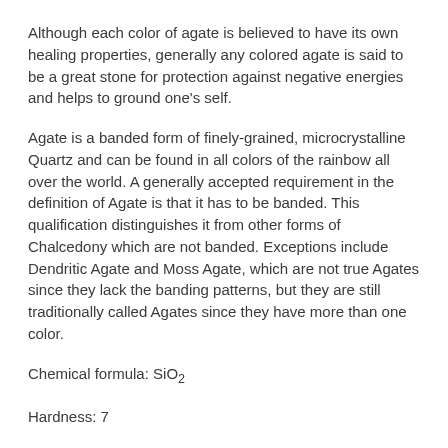Although each color of agate is believed to have its own healing properties, generally any colored agate is said to be a great stone for protection against negative energies and helps to ground one's self.
Agate is a banded form of finely-grained, microcrystalline Quartz and can be found in all colors of the rainbow all over the world. A generally accepted requirement in the definition of Agate is that it has to be banded. This qualification distinguishes it from other forms of Chalcedony which are not banded. Exceptions include Dendritic Agate and Moss Agate, which are not true Agates since they lack the banding patterns, but they are still traditionally called Agates since they have more than one color.
Chemical formula: SiO₂
Hardness: 7
***NOTE TO BUYER***